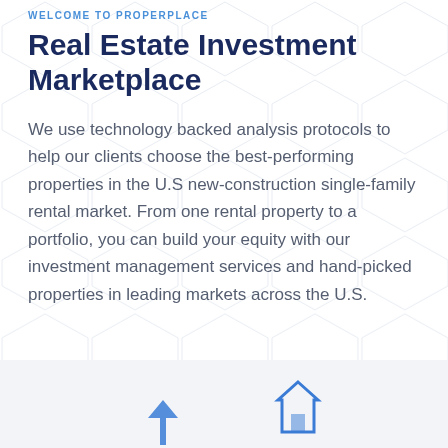WELCOME TO PROPERPLACE
Real Estate Investment Marketplace
We use technology backed analysis protocols to help our clients choose the best-performing properties in the U.S new-construction single-family rental market. From one rental property to a portfolio, you can build your equity with our investment management services and hand-picked properties in leading markets across the U.S.
[Figure (illustration): Bottom gray section with two partial house/building icons visible at the bottom of the page]